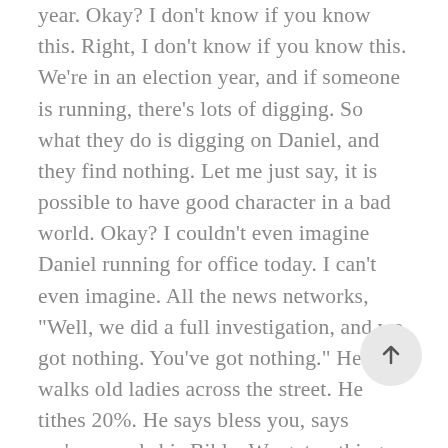year. Okay? I don't know if you know this. Right, I don't know if you know this. We're in an election year, and if someone is running, there's lots of digging. So what they do is digging on Daniel, and they find nothing. Let me just say, it is possible to have good character in a bad world. Okay? I couldn't even imagine Daniel running for office today. I can't even imagine. All the news networks, "Well, we did a full investigation, and we got nothing. You've got nothing." He walks old ladies across the street. He tithes 20%. He says bless you, says ma'am, reads his Bible. We got nothing. We got nothing on this guy. His character is consistent. Nonetheless, the politicians rise up. And let me just tell you this, in every organization there are